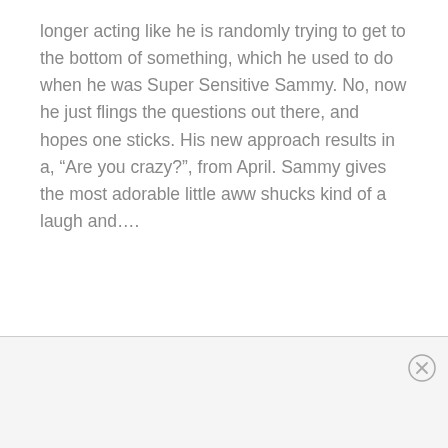longer acting like he is randomly trying to get to the bottom of something, which he used to do when he was Super Sensitive Sammy. No, now he just flings the questions out there, and hopes one sticks. His new approach results in a, “Are you crazy?”, from April. Sammy gives the most adorable little aww shucks kind of a laugh and….